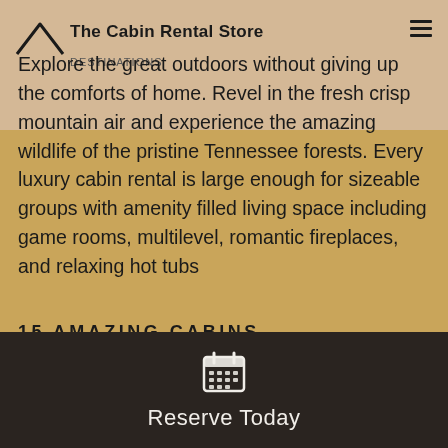The Cabin Rental Store
Explore the great outdoors without giving up the comforts of home. Revel in the fresh crisp mountain air and experience the amazing wildlife of the pristine Tennessee forests. Every luxury cabin rental is large enough for sizeable groups with amenity filled living space including game rooms, multilevel, romantic fireplaces, and relaxing hot tubs
15 AMAZING CABINS
Reserve Today